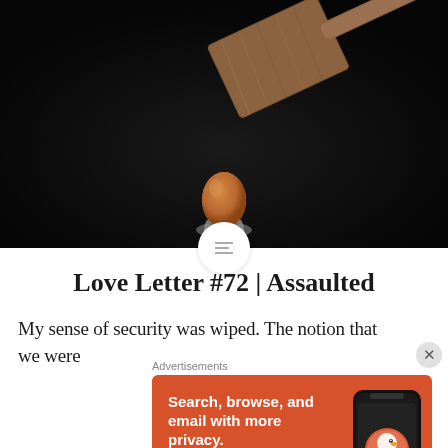[Figure (photo): Dark background photo of a wooden mallet/hammer descending toward a brown egg sitting in a small gray egg cup, dramatic lighting against black background]
Love Letter #72 | Assaulted
My sense of security was wiped. The notion that we were
Advertisements
[Figure (other): DuckDuckGo advertisement banner on orange background. Text: Search, browse, and email with more privacy. All in One Free App. Shows DuckDuckGo logo on phone mockup.]